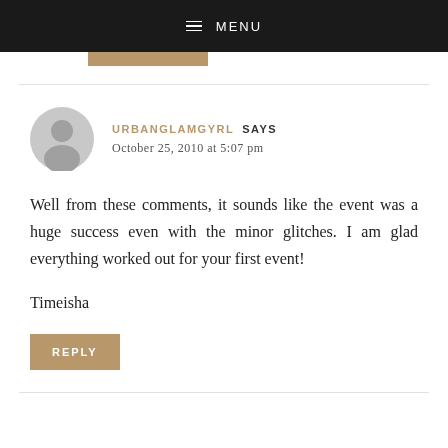MENU
URBANGLAMGYRL SAYS
October 25, 2010 at 5:07 pm
Well from these comments, it sounds like the event was a huge success even with the minor glitches. I am glad everything worked out for your first event!

Timeisha
REPLY